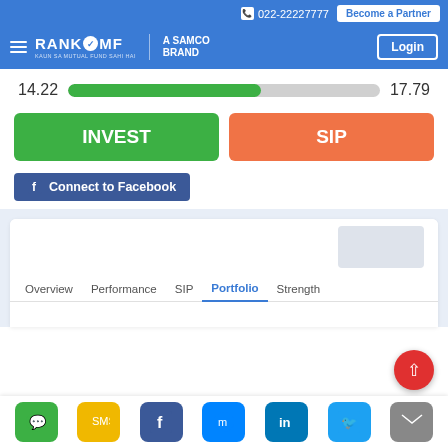📞 022-22227777 | Become a Partner
[Figure (logo): RankMF - A SAMCO Brand logo with hamburger menu and Login button]
[Figure (infographic): Progress bar showing value 14.22 on left and 17.79 on right, with green fill indicating ~62% progress]
[Figure (infographic): Two action buttons: green INVEST button and orange SIP button]
[Figure (infographic): Blue Facebook Connect to Facebook button]
[Figure (screenshot): Navigation tab bar showing Overview, Performance, SIP, Portfolio (active/underlined), Strength tabs inside a white card on a light blue background]
Social share icons: WhatsApp, SMS, Facebook, Messenger, LinkedIn, Twitter, Email